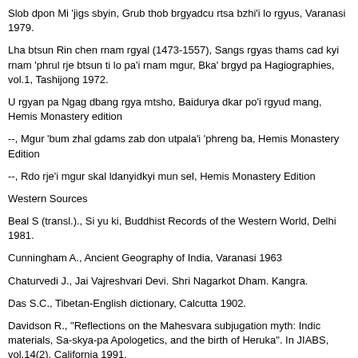Slob dpon Mi 'jigs sbyin, Grub thob brgyadcu rtsa bzhi'i lo rgyus, Varanasi 1979.
Lha btsun Rin chen rnam rgyal (1473-1557), Sangs rgyas thams cad kyi rnam 'phrul rje btsun ti lo pa'i rnam mgur, Bka' brgyd pa Hagiographies, vol.1, Tashijong 1972.
U rgyan pa Ngag dbang rgya mtsho, Baidurya dkar po'i rgyud mang, Hemis Monastery edition
--, Mgur 'bum zhal gdams zab don utpala'i 'phreng ba, Hemis Monastery Edition
--, Rdo rje'i mgur skal ldanyidkyi mun sel, Hemis Monastery Edition
Western Sources
Beal S (transl.)., Si yu ki, Buddhist Records of the Western World, Delhi 1981.
Cunningham A., Ancient Geography of India, Varanasi 1963
Chaturvedi J., Jai Vajreshvari Devi. Shri Nagarkot Dham. Kangra.
Das S.C., Tibetan-English dictionary, Calcutta 1902.
Davidson R., "Reflections on the Mahesvara subjugation myth: Indic materials, Sa-skya-pa Apologetics, and the birth of Heruka". In JIABS, vol.14(2), California 1991.